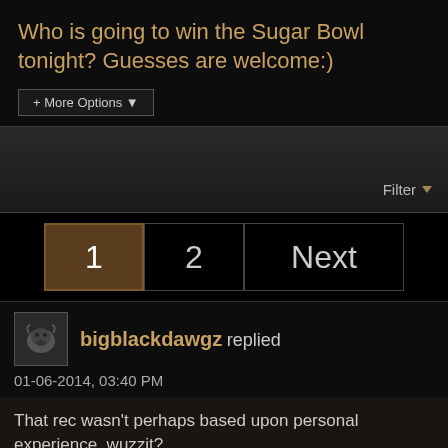Who is going to win the Sugar Bowl tonight? Guesses are welcome:)
+ More Options
Filter
1  2  Next
bigblackdawgz replied
01-06-2014, 03:40 PM
That rec wasn't perhaps based upon personal experience, wuzzit?